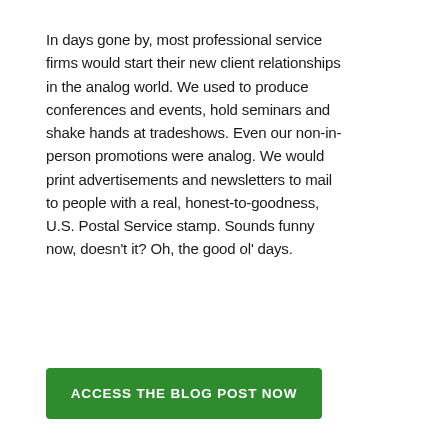In days gone by, most professional service firms would start their new client relationships in the analog world. We used to produce conferences and events, hold seminars and shake hands at tradeshows. Even our non-in-person promotions were analog. We would print advertisements and newsletters to mail to people with a real, honest-to-goodness, U.S. Postal Service stamp. Sounds funny now, doesn't it? Oh, the good ol' days.
ACCESS THE BLOG POST NOW